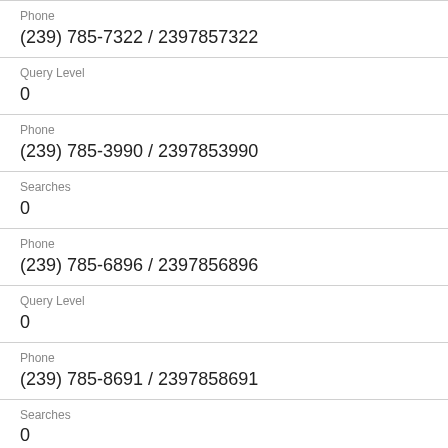Phone
(239) 785-7322 / 2397857322
Query Level
0
Phone
(239) 785-3990 / 2397853990
Searches
0
Phone
(239) 785-6896 / 2397856896
Query Level
0
Phone
(239) 785-8691 / 2397858691
Searches
0
Phone
(239) 785-8462 / 2397858462